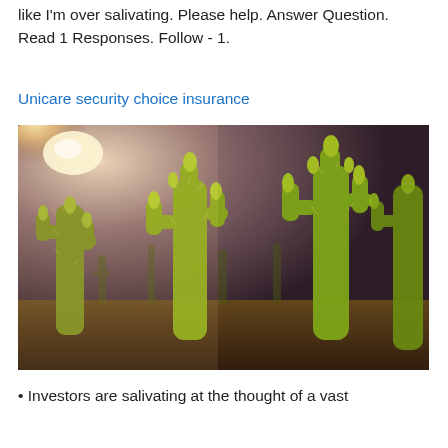like I'm over salivating. Please help. Answer Question. Read 1 Responses. Follow - 1.
Unicare security choice insurance
[Figure (photo): Close-up photograph of cholla cactus plants with spiny arms illuminated by warm sunlight against a dark sky background]
Investors are salivating at the thought of a vast